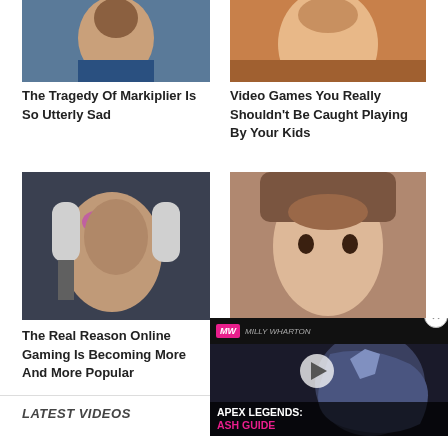[Figure (photo): Thumbnail of Markiplier (man's face)]
The Tragedy Of Markiplier Is So Utterly Sad
[Figure (photo): Thumbnail of woman's face close-up]
Video Games You Really Shouldn't Be Caught Playing By Your Kids
[Figure (photo): Person with pink hair and gaming headset]
The Real Reason Online Gaming Is Becoming More And More Popular
[Figure (photo): Woman with brown hair]
[Figure (screenshot): Apex Legends: Ash Guide video overlay with MW logo, play button, and game character]
LATEST VIDEOS